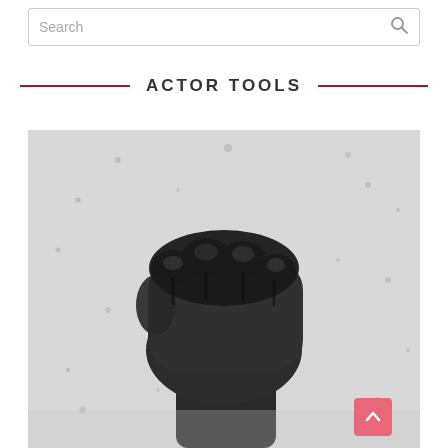Search
ACTOR TOOLS
[Figure (photo): Black and white close-up photograph of a raised clenched fist against a textured wall background]